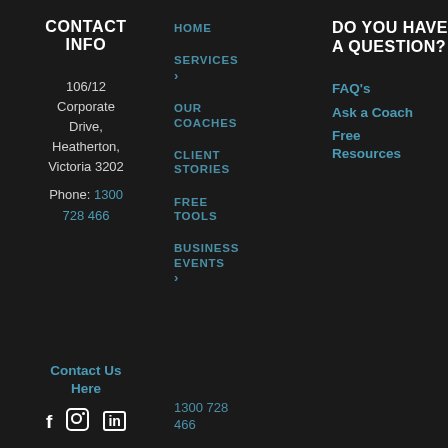CONTACT INFO
106/12 Corporate Drive, Heatherton, Victoria 3202
Phone: 1300 728 466
Contact Us Here
[Figure (illustration): Social media icons: Facebook (f), Instagram (circle in square), LinkedIn (in)]
HOME
SERVICES >
OUR COACHES
CLIENT STORIES
FREE TOOLS
BUSINESS EVENTS >
1300 728 466
DO YOU HAVE A QUESTION?
FAQ's
Ask a Coach
Free Resources